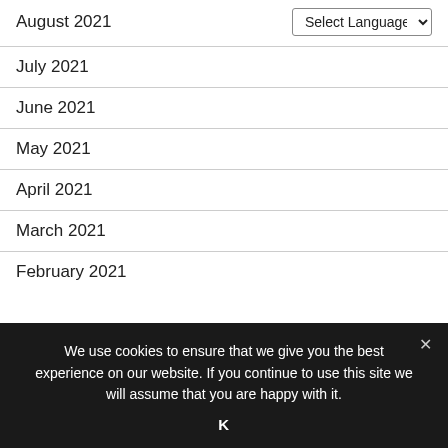August 2021
July 2021
June 2021
May 2021
April 2021
March 2021
February 2021
We use cookies to ensure that we give you the best experience on our website. If you continue to use this site we will assume that you are happy with it.
K